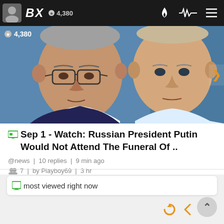BX | 4,380
[Figure (photo): Two men in close conversation, appears to be Gorbachev and Putin, with a blue background showing partial Cyrillic text]
Sep 1 - Watch: Russian President Putin Would Not Attend The Funeral Of ..
@news | 10 replies | 9 min ago
7 | by Playboy69 | 3 hr
most viewed right now